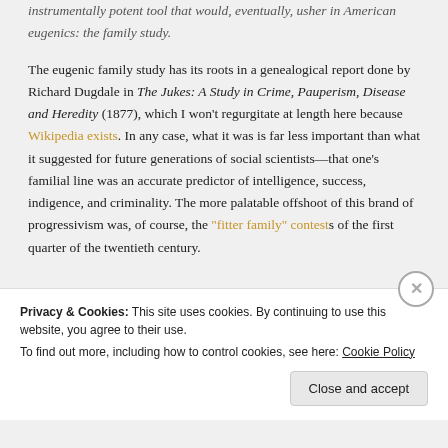instrumentally potent tool that would, eventually, usher in American eugenics: the family study.
The eugenic family study has its roots in a genealogical report done by Richard Dugdale in The Jukes: A Study in Crime, Pauperism, Disease and Heredity (1877), which I won't regurgitate at length here because Wikipedia exists. In any case, what it was is far less important than what it suggested for future generations of social scientists—that one's familial line was an accurate predictor of intelligence, success, indigence, and criminality. The more palatable offshoot of this brand of progressivism was, of course, the "fitter family" contests of the first quarter of the twentieth century.
Privacy & Cookies: This site uses cookies. By continuing to use this website, you agree to their use.
To find out more, including how to control cookies, see here: Cookie Policy